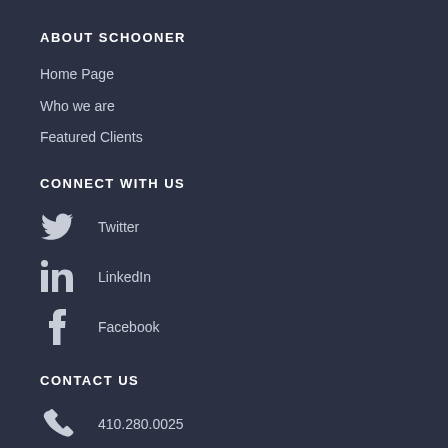ABOUT SCHOONER
Home Page
Who we are
Featured Clients
CONNECT WITH US
Twitter
LinkedIn
Facebook
CONTACT US
410.280.0025